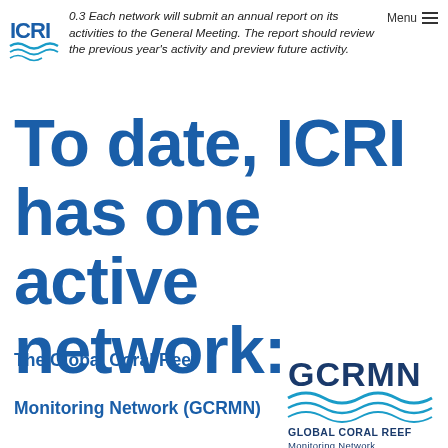0.3 Each network will submit an annual report on its activities to the General Meeting. The report should review the previous year's activity and preview future activity.
To date, ICRI has one active network:
The Global Coral Reef Monitoring Network (GCRMN)
[Figure (logo): GCRMN Global Coral Reef Monitoring Network logo with wave design]